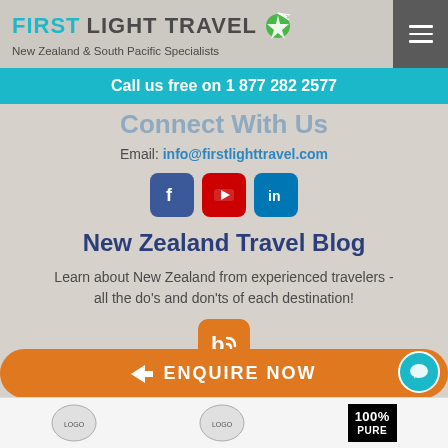FIRSTLIGHTTRAVEL - New Zealand & South Pacific Specialists
Call us free on 1 877 282 2577
Connect With Us
Email: info@firstlighttravel.com
[Figure (logo): Social media icons: Facebook, YouTube, LinkedIn]
New Zealand Travel Blog
Learn about New Zealand from experienced travelers - all the do's and don'ts of each destination!
[Figure (logo): Blog RSS feed icon in orange rounded square]
ENQUIRE NOW
[Figure (logo): Bottom bar logos including 100% PURE New Zealand]